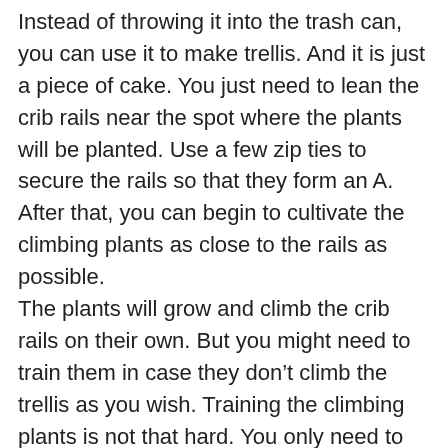Instead of throwing it into the trash can, you can use it to make trellis. And it is just a piece of cake. You just need to lean the crib rails near the spot where the plants will be planted. Use a few zip ties to secure the rails so that they form an A. After that, you can begin to cultivate the climbing plants as close to the rails as possible.
The plants will grow and climb the crib rails on their own. But you might need to train them in case they don't climb the trellis as you wish. Training the climbing plants is not that hard. You only need to let them grow and produce little vines. Wrap the rails around with those little vines, and let the plants do the rest.